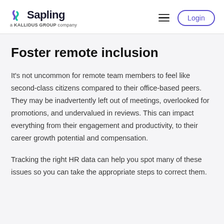Sapling — a KALLIDUS GROUP company | Login
Foster remote inclusion
It's not uncommon for remote team members to feel like second-class citizens compared to their office-based peers. They may be inadvertently left out of meetings, overlooked for promotions, and undervalued in reviews. This can impact everything from their engagement and productivity, to their career growth potential and compensation.
Tracking the right HR data can help you spot many of these issues so you can take the appropriate steps to correct them.